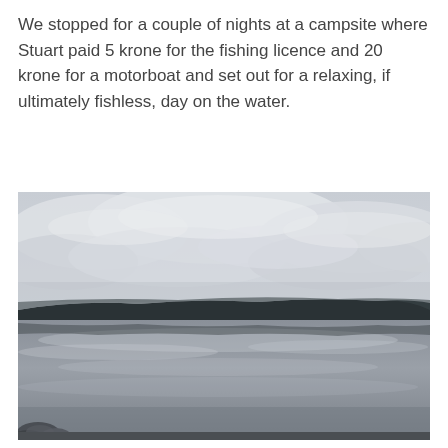We stopped for a couple of nights at a campsite where Stuart paid 5 krone for the fishing licence and 20 krone for a motorboat and set out for a relaxing, if ultimately fishless, day on the water.
[Figure (photo): A calm lake landscape photograph with overcast cloudy sky, a dark forested hillside on the far shore reflected in the still water, and some rocks visible in the foreground left.]